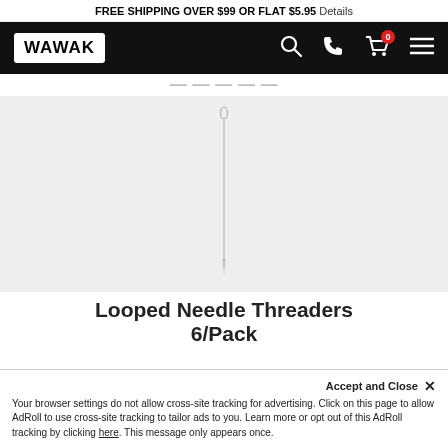FREE SHIPPING OVER $99 OR FLAT $5.95 Details
[Figure (logo): WAWAK logo and navigation bar with search, phone, cart (0), and menu icons on black background]
[Figure (photo): A single looped needle threader, thin silver needle with loop at top, shown vertically on light gray background]
Looped Needle Threaders 6/Pack
Accept and Close ×
Your browser settings do not allow cross-site tracking for advertising. Click on this page to allow AdRoll to use cross-site tracking to tailor ads to you. Learn more or opt out of this AdRoll tracking by clicking here. This message only appears once.